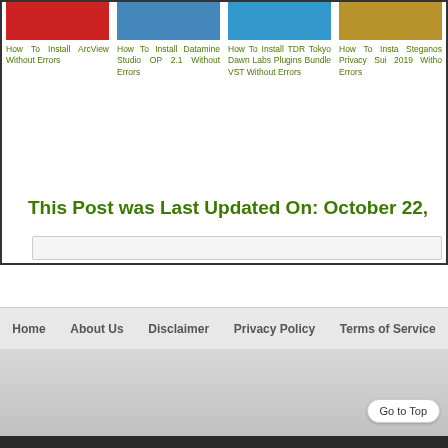[Figure (screenshot): Thumbnail image red background for ArcView article]
How To Install ArcView Without Errors
[Figure (screenshot): Thumbnail image blue background for Datamine Studio article]
How To Install Datamine Studio OP 2.1 Without Errors
[Figure (screenshot): Thumbnail image blue background for TDR Tokyo Dawn Labs article]
How To Install TDR Tokyo Dawn Labs Plugins Bundle VST Without Errors
[Figure (screenshot): Thumbnail image gold background for Steganos Privacy Suite article]
How To Install Steganos Privacy Suite 2019 Without Errors
This Post was Last Updated On: October 22,
Home   About Us   Disclaimer   Privacy Policy   Terms of Service
Go to Top